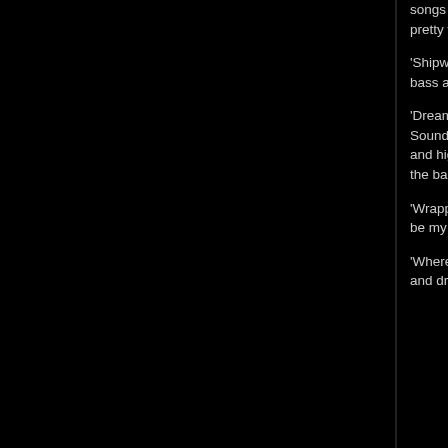songs on the album. The guitar solos are fantastic and are highlighted well with those smashing drums. Schofield pretty well plays it straight ahead as a tribute to Steve. "Oh, dream on".
'Shipwrecked' is a nice blues rocker which the Hammond just warmly embraces and fills the sound. The drums, bass and Schofield's rhythm and soloing are superb.
'Dreaming of You' slows things down again with a great deep guitar riff. This one has Hendrix sound all over it. Sounds like a very good slow kind of tune. "Wanna dream again". They add in some of those psychedelic keys and high pitched chords just to make it sound authentic. The Hammond is like a well-lit candle shining a light with the bass and drums throughout the song.
'Wrapped Up in Love' is another great classic blues sound. "You say you don't wanna marry me, you just wanna be my friend". More guitar soloing with drums, Hammond and bass in support.
'Where Do I Have to Stand' is a classic blues rhythm which Schofield solos perfectly to while Hammond, bass, and drums keep time in support. The longest of the tracks full of great blues lead guitar.